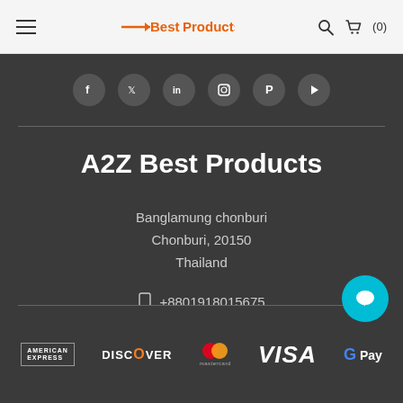A2Z Best Products (navigation bar with hamburger, logo, search and cart icons)
[Figure (infographic): Social media icons: Facebook, Twitter, LinkedIn, Instagram, Pinterest, YouTube on dark background]
A2Z Best Products
Banglamung chonburi
Chonburi, 20150
Thailand
+8801918015675
[Figure (infographic): Payment method logos: American Express, Discover, Mastercard, Visa, Google Pay]